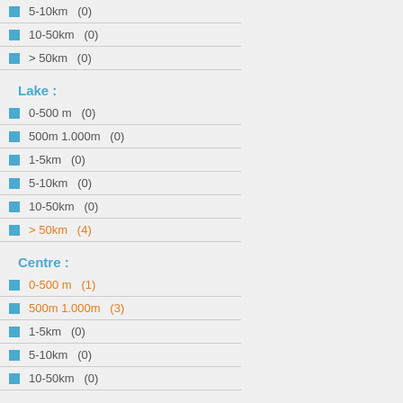5-10km  (0)
10-50km  (0)
> 50km  (0)
Lake :
0-500 m  (0)
500m 1.000m  (0)
1-5km  (0)
5-10km  (0)
10-50km  (0)
> 50km  (4)
Centre :
0-500 m  (1)
500m 1.000m  (3)
1-5km  (0)
5-10km  (0)
10-50km  (0)